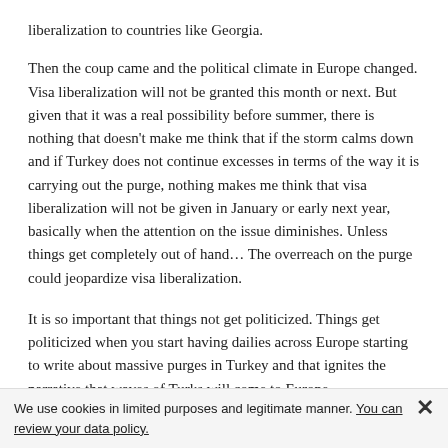liberalization to countries like Georgia. Then the coup came and the political climate in Europe changed. Visa liberalization will not be granted this month or next. But given that it was a real possibility before summer, there is nothing that doesn't make me think that if the storm calms down and if Turkey does not continue excesses in terms of the way it is carrying out the purge, nothing makes me think that visa liberalization will not be given in January or early next year, basically when the attention on the issue diminishes. Unless things get completely out of hand… The overreach on the purge could jeopardize visa liberalization.
It is so important that things not get politicized. Things get politicized when you start having dailies across Europe starting to write about massive purges in Turkey and that ignites the narrative that waves of Turks will come to Europe.
How do you think Brexit will affect Turkey's accession process?
Had there not been a Brexit and had the United Kingdom remained within the EU but developed a special relationship, that could have created one
We use cookies in limited purposes and legitimate manner. You can review your data policy. ✕